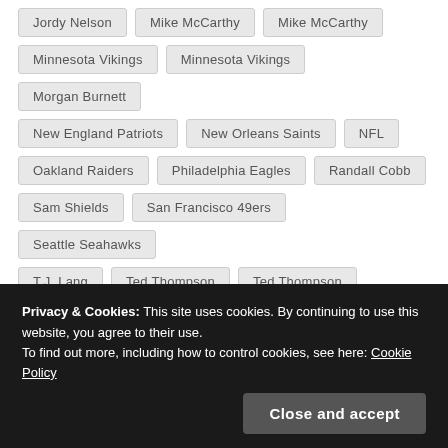Jordy Nelson
Mike McCarthy
Mike McCarthy
Minnesota Vikings
Minnesota Vikings
Morgan Burnett
New England Patriots
New Orleans Saints
NFL
Oakland Raiders
Philadelphia Eagles
Randall Cobb
Sam Shields
San Francisco 49ers
Seattle Seahawks
T.J. Lang
Ted Thompson
Ted Thompson
Tramon Williams
Ty Montgomery
Privacy & Cookies: This site uses cookies. By continuing to use this website, you agree to their use.
To find out more, including how to control cookies, see here: Cookie Policy
Close and accept